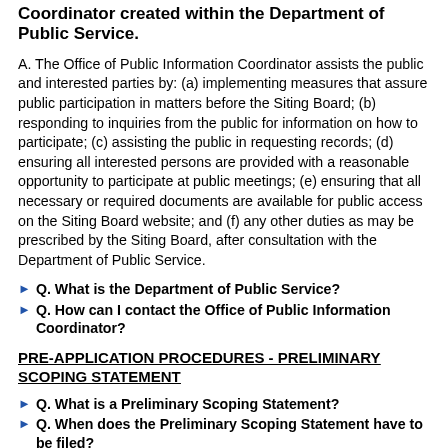Coordinator created within the Department of Public Service.
A. The Office of Public Information Coordinator assists the public and interested parties by: (a) implementing measures that assure public participation in matters before the Siting Board; (b) responding to inquiries from the public for information on how to participate; (c) assisting the public in requesting records; (d) ensuring all interested persons are provided with a reasonable opportunity to participate at public meetings; (e) ensuring that all necessary or required documents are available for public access on the Siting Board website; and (f) any other duties as may be prescribed by the Siting Board, after consultation with the Department of Public Service.
Q. What is the Department of Public Service?
Q. How can I contact the Office of Public Information Coordinator?
PRE-APPLICATION PROCEDURES - PRELIMINARY SCOPING STATEMENT
Q. What is a Preliminary Scoping Statement?
Q. When does the Preliminary Scoping Statement have to be filed?
Q. What kind of information must be included in a